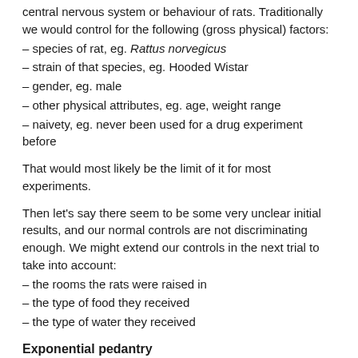central nervous system or behaviour of rats. Traditionally we would control for the following (gross physical) factors:
– species of rat, eg. Rattus norvegicus
– strain of that species, eg. Hooded Wistar
– gender, eg. male
– other physical attributes, eg. age, weight range
– naivety, eg. never been used for a drug experiment before
That would most likely be the limit of it for most experiments.
Then let's say there seem to be some very unclear initial results, and our normal controls are not discriminating enough. We might extend our controls in the next trial to take into account:
– the rooms the rats were raised in
– the type of food they received
– the type of water they received
Exponential pedantry